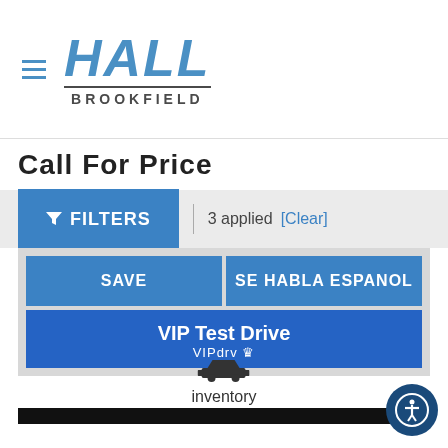[Figure (logo): Hall Brookfield dealership logo with hamburger menu icon]
Call For Price
FILTERS  3 applied  [Clear]
SAVE
SE HABLA ESPANOL
VIP Test Drive
VIPdrv
[Figure (illustration): Black bar image cropped at top]
[Figure (illustration): Car icon (sedan silhouette)]
inventory
[Figure (illustration): Accessibility icon button (person with circle outline)]